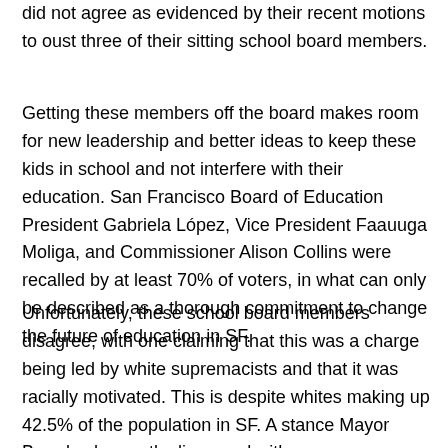did not agree as evidenced by their recent motions to oust three of their sitting school board members.
Getting these members off the board makes room for new leadership and better ideas to keep these kids in school and not interfere with their education. San Francisco Board of Education President Gabriela López, Vice President Faauuga Moliga, and Commissioner Alison Collins were recalled by at least 70% of voters, in what can only be described as a thorough commitment to change the future of education in SF.
Unfortunately, these school board members disagree, with one claiming that this was a charge being led by white supremacists and that it was racially motivated. This is despite whites making up 42.5% of the population in SF. A stance Mayor Breed vehemently disagreed with.